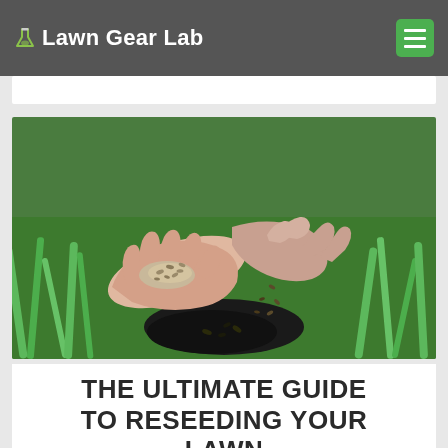Lawn Gear Lab
[Figure (photo): Two hands holding grass seeds over green grass lawn with dark soil visible below]
THE ULTIMATE GUIDE TO RESEEDING YOUR LAWN